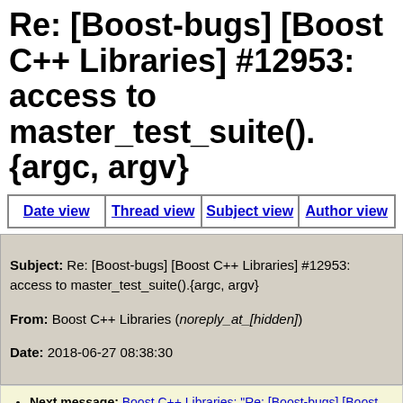Re: [Boost-bugs] [Boost C++ Libraries] #12953: access to master_test_suite().{argc, argv}
| Date view | Thread view | Subject view | Author view |
| --- | --- | --- | --- |
Subject: Re: [Boost-bugs] [Boost C++ Libraries] #12953: access to master_test_suite().{argc, argv}
From: Boost C++ Libraries (noreply_at_[hidden])
Date: 2018-06-27 08:38:30
Next message: Boost C++ Libraries: "Re: [Boost-bugs] [Boost C++ Libraries] #12953: access to master_test_suite().{argc, argv}"
Previous message: Boost C++ Libraries: "Re: [Boost-bugs] [Boost C++ Libraries] #13024: Using function as data source in BOOST_DATA_TEST_CASE initiate the conflict with static variables initialization"
In reply to: Boost C++ Libraries: "[Boost-bugs] [Boost C++ Libraries] #12953: access to master_test_suite().{argc,